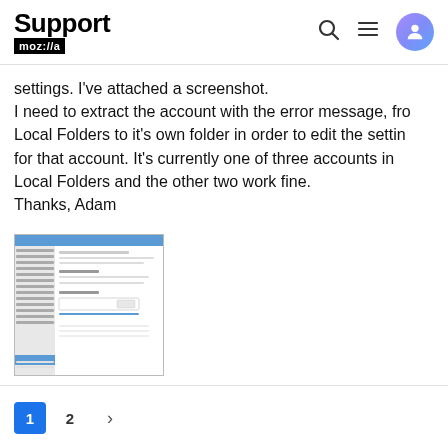Support mozilla//a
settings. I've attached a screenshot.
I need to extract the account with the error message, from Local Folders to it's own folder in order to edit the settings for that account. It's currently one of three accounts in Local Folders and the other two work fine.
Thanks, Adam
[Figure (screenshot): A small thumbnail screenshot of what appears to be a Thunderbird or similar email client settings window, showing a sidebar with account entries and a main panel with configuration fields.]